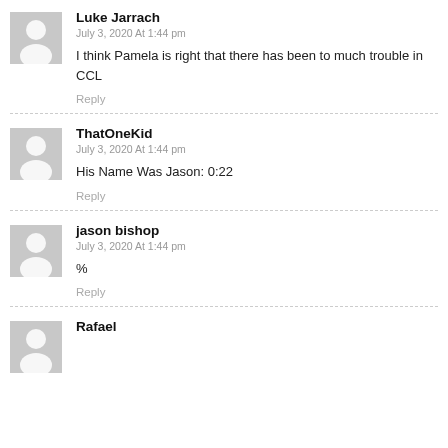Luke Jarrach
July 3, 2020 At 1:44 pm
I think Pamela is right that there has been to much trouble in CCL
Reply
ThatOneKid
July 3, 2020 At 1:44 pm
His Name Was Jason: 0:22
Reply
jason bishop
July 3, 2020 At 1:44 pm
%
Reply
Rafael